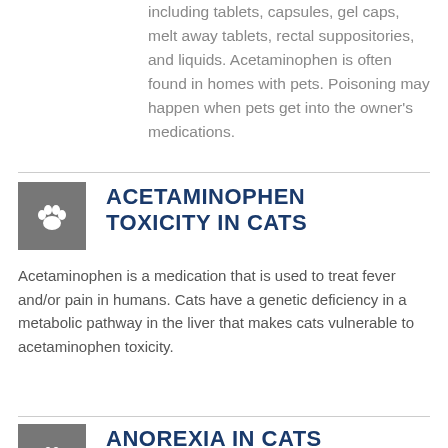including tablets, capsules, gel caps, melt away tablets, rectal suppositories, and liquids. Acetaminophen is often found in homes with pets. Poisoning may happen when pets get into the owner's medications.
ACETAMINOPHEN TOXICITY IN CATS
Acetaminophen is a medication that is used to treat fever and/or pain in humans. Cats have a genetic deficiency in a metabolic pathway in the liver that makes cats vulnerable to acetaminophen toxicity.
ANOREXIA IN CATS
A cat that is not wanting to eat or is not eating, is a cat who has a potentially life-threatening medical condition. Many conditions can lead to the inability of your cat to eat or for your cat to lose her